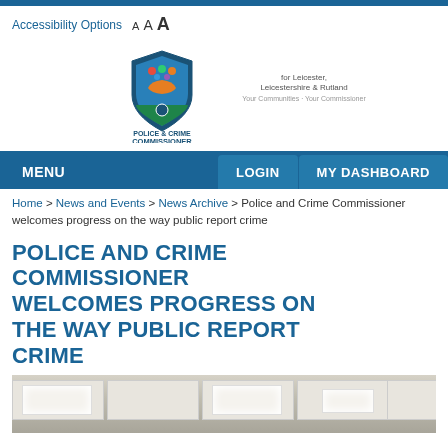Accessibility Options  A A A
[Figure (logo): Police & Crime Commissioner for Leicester, Leicestershire & Rutland shield logo with text]
MENU | LOGIN | MY DASHBOARD
Home > News and Events > News Archive > Police and Crime Commissioner welcomes progress on the way public report crime
POLICE AND CRIME COMMISSIONER WELCOMES PROGRESS ON THE WAY PUBLIC REPORT CRIME
[Figure (photo): Interior photo of office ceiling with recessed lighting panels]